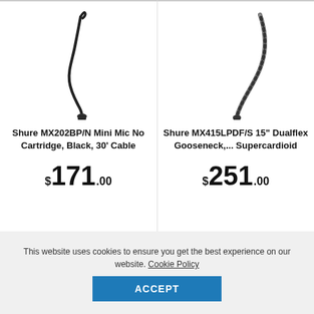[Figure (photo): Shure MX202BP/N Mini Mic gooseneck, black, curved shape with connector at bottom]
Shure MX202BP/N Mini Mic No Cartridge, Black, 30' Cable
$171.00
[Figure (photo): Shure MX415LPDF/S 15-inch Dualflex Gooseneck, braided silver-black flexible tube with connector at bottom]
Shure MX415LPDF/S 15" Dualflex Gooseneck,... Supercardioid
$251.00
This website uses cookies to ensure you get the best experience on our website. Cookie Policy
ACCEPT